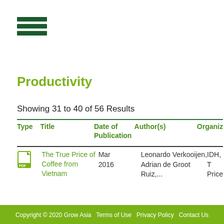[Figure (illustration): Hamburger/menu icon with three dark green horizontal bars]
Productivity
Showing 31 to 40 of 56 Results
| Type | Title | Date of Publication | Author(s) | Organiz |
| --- | --- | --- | --- | --- |
| [PDF icon] | The True Price of Coffee from Vietnam | Mar 2016 | Leonardo Verkooijen, Adrian de Groot Ruiz,... | IDH, T Price |
Copyright © 2020 Grow Asia   Terms of Use   Privacy Policy   Contact Us